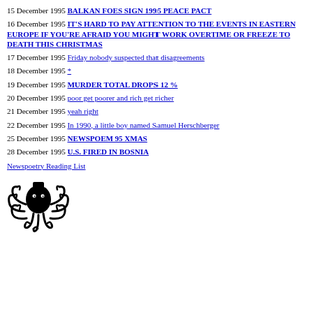15 December 1995 BALKAN FOES SIGN 1995 PEACE PACT
16 December 1995 IT'S HARD TO PAY ATTENTION TO THE EVENTS IN EASTERN EUROPE IF YOU'RE AFRAID YOU MIGHT WORK OVERTIME OR FREEZE TO DEATH THIS CHRISTMAS
17 December 1995 Friday nobody suspected that disagreements
18 December 1995 *
19 December 1995 MURDER TOTAL DROPS 12 %
20 December 1995 poor get poorer and rich get richer
21 December 1995 yeah right
22 December 1995 In 1990, a little boy named Samuel Herschberger
25 December 1995 NEWSPOEM 95 XMAS
28 December 1995 U.S. FIRED IN BOSNIA
Newspoetry Reading List
[Figure (logo): Black squid/octopus logo illustration with decorative swirls]